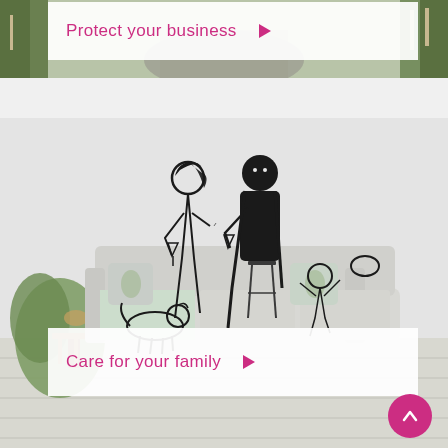[Figure (photo): Outdoor path/road scene with greenery, partially visible. A white semi-transparent banner overlaid on top with pink text.]
Protect your business ▶
[Figure (illustration): Interior room scene with a white sofa. Black line-drawn cartoon family (couple toasting with champagne, baby, dog) overlaid on photo of living room.]
Care for your family ▶